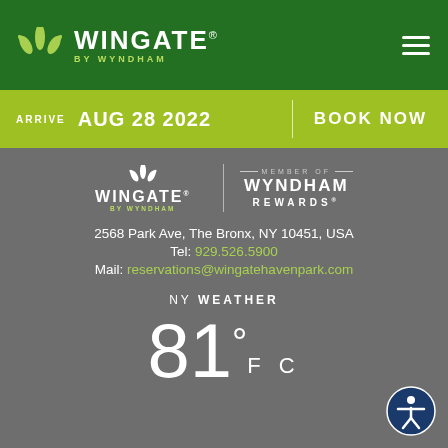[Figure (logo): Wingate by Wyndham logo with green crown icon, white text on dark green header bar, with hamburger menu icon on right]
ARRIVE AUG 28 2022 | BOOK NOW
[Figure (logo): Wingate by Wyndham logo in white, Member of Wyndham Rewards logo, on gray background]
2568 Park Ave, The Bronx, NY 10451, USA
Tel: 929.526.5900
Mail: reservations@wingatehavenpark.com
NY WEATHER
81° F C